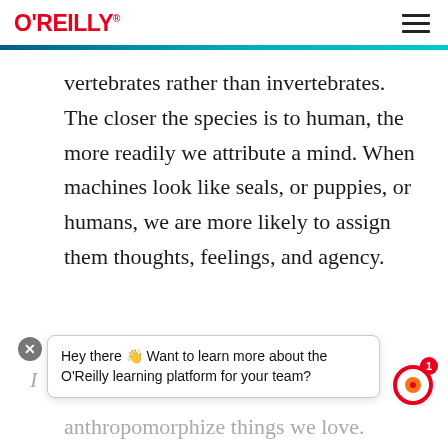O'REILLY
vertebrates rather than invertebrates. The closer the species is to human, the more readily we attribute a mind. When machines look like seals, or puppies, or humans, we are more likely to assign them thoughts, feelings, and agency.
Hey there 👋 Want to learn more about the O'Reilly learning platform for your team?
anthropomorphize things we love.